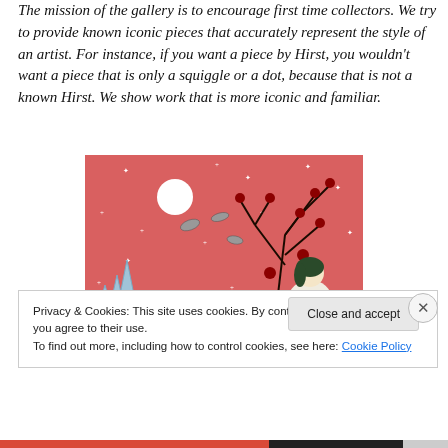The mission of the gallery is to encourage first time collectors. We try to provide known iconic pieces that accurately represent the style of an artist. For instance, if you want a piece by Hirst, you wouldn't want a piece that is only a squiggle or a dot, because that is not a known Hirst. We show work that is more iconic and familiar.
[Figure (illustration): Anime-style illustration on a coral/pink background showing a girl with dark hair, birds, bare tree branches with red flowers, a full white moon, sparkle stars, and blue crystal formations on the left.]
Privacy & Cookies: This site uses cookies. By continuing to use this website, you agree to their use.
To find out more, including how to control cookies, see here: Cookie Policy